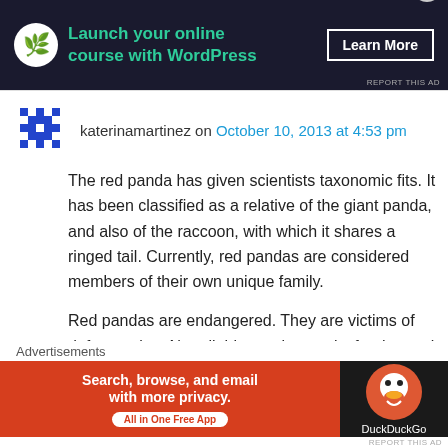[Figure (other): Dark-themed advertisement banner: 'Launch your online course with WordPress' with Learn More button]
katerinamartinez on October 10, 2013 at 4:53 pm
The red panda has given scientists taxonomic fits. It has been classified as a relative of the giant panda, and also of the raccoon, with which it shares a ringed tail. Currently, red pandas are considered members of their own unique family.
Red pandas are endangered. They are victims of deforestation. No reliable numbers exist for the total population but it is very threatened due to
[Figure (other): DuckDuckGo advertisement: 'Search, browse, and email with more privacy. All in One Free App']